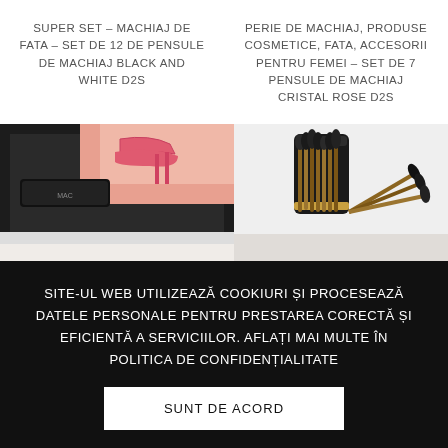SUPER SET – MACHIAJ DE FATA – SET DE 12 DE PENSULE DE MACHIAJ BLACK AND WHITE D2S
PERIE DE MACHIAJ, PRODUSE COSMETICE, FATA, ACCESORII PENTRU FEMEI – SET DE 7 PENSULE DE MACHIAJ CRISTAL ROSE D2S
[Figure (photo): Makeup set in a black box with a pink eyelash curler and cosmetic products visible]
[Figure (photo): Black makeup brush set/cylinder container with brushes fanned out]
SITE-UL WEB UTILIZEAZĂ COOKIURI ȘI PROCESEAZĂ DATELE PERSONALE PENTRU PRESTAREA CORECTĂ ȘI EFICIENTĂ A SERVICIILOR. AFLAȚI MAI MULTE ÎN POLITICA DE CONFIDENȚIALITATE
SUNT DE ACORD